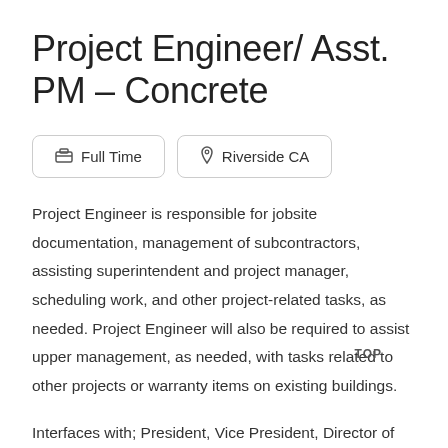Project Engineer/ Asst. PM – Concrete
Full Time
Riverside CA
Project Engineer is responsible for jobsite documentation, management of subcontractors, assisting superintendent and project manager, scheduling work, and other project-related tasks, as needed. Project Engineer will also be required to assist upper management, as needed, with tasks related to other projects or warranty items on existing buildings.
Interfaces with; President, Vice President, Director of Construction, Project Managers, Assistant Project Managers, Superintendents, and other site staff